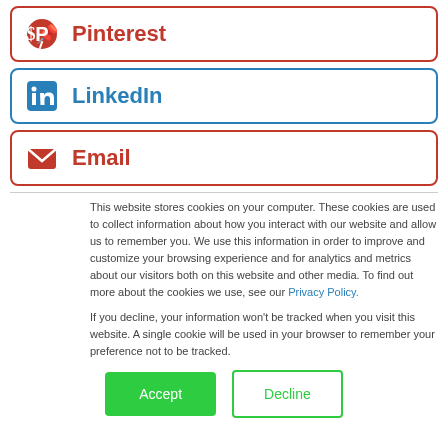[Figure (logo): Pinterest share button with Pinterest logo icon and red label]
[Figure (logo): LinkedIn share button with LinkedIn logo icon and blue label]
[Figure (logo): Email share button with envelope icon and red label]
This website stores cookies on your computer. These cookies are used to collect information about how you interact with our website and allow us to remember you. We use this information in order to improve and customize your browsing experience and for analytics and metrics about our visitors both on this website and other media. To find out more about the cookies we use, see our Privacy Policy.
If you decline, your information won't be tracked when you visit this website. A single cookie will be used in your browser to remember your preference not to be tracked.
[Figure (other): Accept and Decline cookie consent buttons]